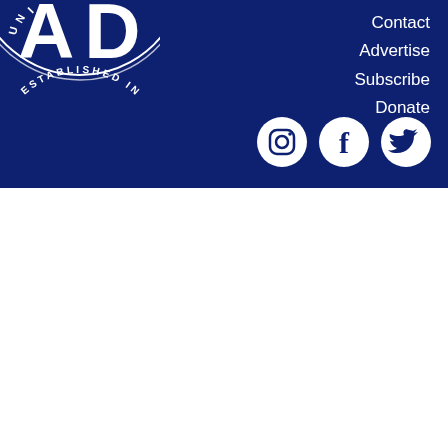[Figure (logo): Circular logo with text 'ESTABLISHED IN' around the arc and letters 'A D' in the center, partially visible, white on dark blue background]
Contact
Advertise
Subscribe
Donate
[Figure (illustration): Social media icons: Instagram, Facebook, Twitter — white icons in white circles on dark blue background]